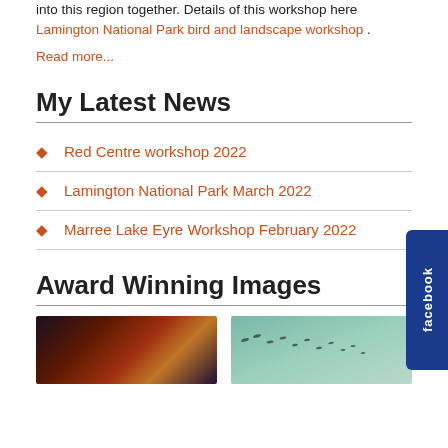into this region together. Details of this workshop here Lamington National Park bird and landscape workshop .
Read more...
My Latest News
Red Centre workshop 2022
Lamington National Park March 2022
Marree Lake Eyre Workshop February 2022
Award Winning Images
[Figure (photo): Two thumbnail photos at the bottom: left is a dark dramatic landscape/sky image, right is a light teal image with birds flying in formation.]